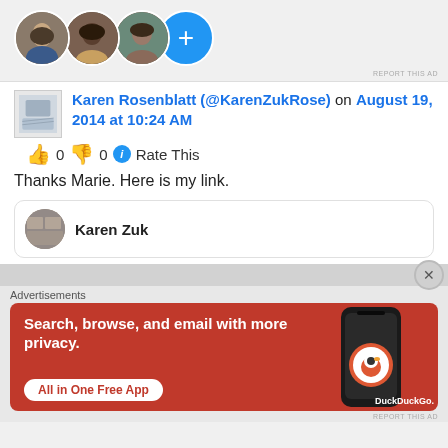[Figure (screenshot): Top social ad section showing three profile photo avatars and a blue plus button]
REPORT THIS AD
Karen Rosenblatt (@KarenZukRose) on August 19, 2014 at 10:24 AM
👍 0 👎 0 ℹ Rate This
Thanks Marie. Here is my link.
Karen Zuk
Advertisements
[Figure (screenshot): DuckDuckGo advertisement banner: Search, browse, and email with more privacy. All in One Free App. Shows phone with DuckDuckGo logo.]